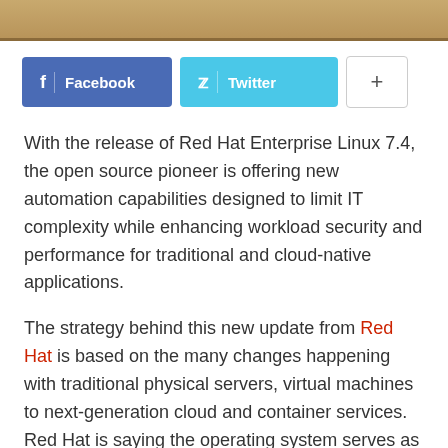[Figure (photo): Top image bar showing a partial photo (brownish/wooden tones)]
[Figure (infographic): Social sharing buttons: Facebook (blue), Twitter (light blue), and a plus button (white/grey)]
With the release of Red Hat Enterprise Linux 7.4, the open source pioneer is offering new automation capabilities designed to limit IT complexity while enhancing workload security and performance for traditional and cloud-native applications.
The strategy behind this new update from Red Hat is based on the many changes happening with traditional physical servers, virtual machines to next-generation cloud and container services. Red Hat is saying the operating system serves as a critical linchpin in connecting deployment footprints across the on-premises and Enterprise (the text is cut off)